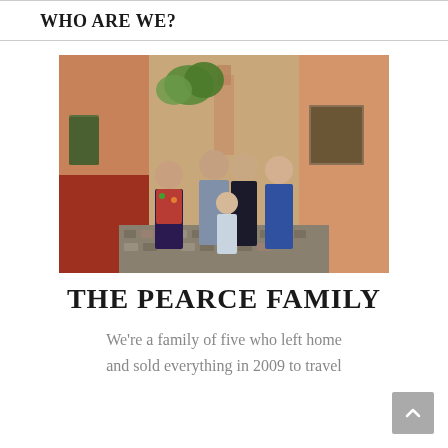WHO ARE WE?
[Figure (photo): Family of five standing together on a cobblestone street in what appears to be San Miguel de Allende, Mexico, with colorful colonial buildings and a church spire visible in the background.]
THE PEARCE FAMILY
We're a family of five who left home and sold everything in 2009 to travel